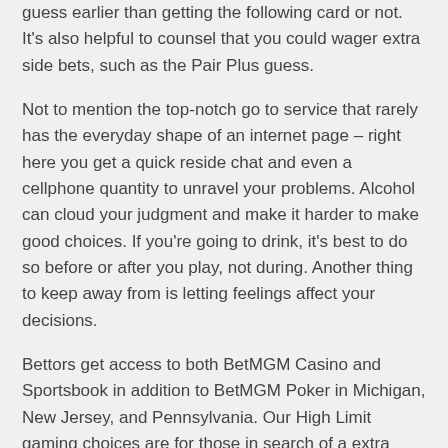guess earlier than getting the following card or not. It's also helpful to counsel that you could wager extra side bets, such as the Pair Plus guess.
Not to mention the top-notch go to service that rarely has the everyday shape of an internet page – right here you get a quick reside chat and even a cellphone quantity to unravel your problems. Alcohol can cloud your judgment and make it harder to make good choices. If you're going to drink, it's best to do so before or after you play, not during. Another thing to keep away from is letting feelings affect your decisions.
Bettors get access to both BetMGM Casino and Sportsbook in addition to BetMGM Poker in Michigan, New Jersey, and Pennsylvania. Our High Limit gaming choices are for those in search of a extra exclusive experience. Enjoy meals and cocktail service whereas enjoying your favourite casino slots and wagering high-stakes.